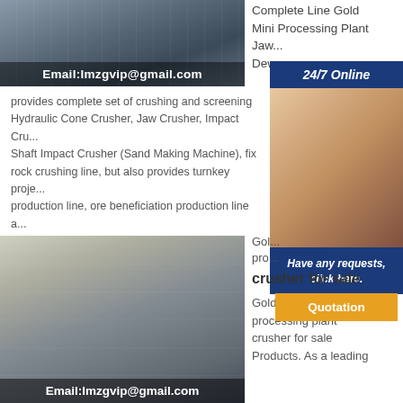[Figure (photo): Industrial jaw crusher / heavy machinery equipment photo with email overlay]
Complete Line Gold Mini Processing Plant Jaw...Dew...
24/7 Online
[Figure (photo): Customer service agent woman wearing headset phone]
Have any requests, click here.
Quotation
provides complete set of crushing and screening Hydraulic Cone Crusher, Jaw Crusher, Impact Cru... Shaft Impact Crusher (Sand Making Machine), fix rock crushing line, but also provides turnkey proje... production line, ore beneficiation production line a...
[Figure (photo): Large industrial factory floor with mining/crushing equipment with email overlay]
Gold... pro... crusher for sale
crusher for sale
Gold extraction processing plant crusher for sale Products. As a leading